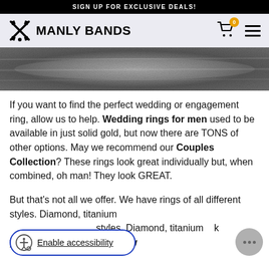SIGN UP FOR EXCLUSIVE DEALS!
[Figure (logo): Manly Bands logo with crossed axes icon and bold text 'MANLY BANDS', navigation bar with cart icon showing badge '0' and hamburger menu]
[Figure (photo): Close-up photo of a metallic wedding band ring with brushed/textured gray surface]
If you want to find the perfect wedding or engagement ring, allow us to help. Wedding rings for men used to be available in just solid gold, but now there are TONS of other options. May we recommend our Couples Collection? These rings look great individually but, when combined, oh man! They look GREAT.
But that's not all we offer. We have rings of all different styles. Diamond, titanium, k you can even create your ow